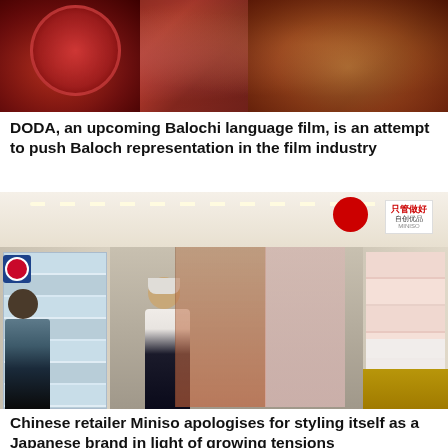[Figure (photo): Promotional image for DODA film showing a person with red/orange lighting and dark dramatic background]
DODA, an upcoming Balochi language film, is an attempt to push Baloch representation in the film industry
[Figure (photo): Interior of a Miniso retail store with shoppers browsing aisles lined with packaged products and merchandise, Chinese signage visible on a sign in the background]
Chinese retailer Miniso apologises for styling itself as a Japanese brand in light of growing tensions